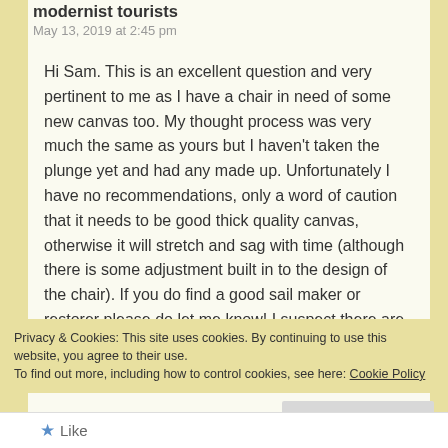modernist tourists
May 13, 2019 at 2:45 pm
Hi Sam. This is an excellent question and very pertinent to me as I have a chair in need of some new canvas too. My thought process was very much the same as yours but I haven't taken the plunge yet and had any made up. Unfortunately I have no recommendations, only a word of caution that it needs to be good thick quality canvas, otherwise it will stretch and sag with time (although there is some adjustment built in to the design of the chair). If you do find a good sail maker or restorer please do let me know! I suspect there are lots of chairs out there whose owners have become attached to them and
Privacy & Cookies: This site uses cookies. By continuing to use this website, you agree to their use.
To find out more, including how to control cookies, see here: Cookie Policy
Close and accept
Like